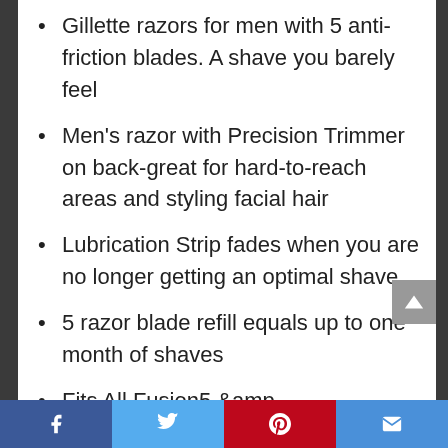Gillette razors for men with 5 anti-friction blades. A shave you barely feel
Men's razor with Precision Trimmer on back-great for hard-to-reach areas and styling facial hair
Lubrication Strip fades when you are no longer getting an optimal shave
5 razor blade refill equals up to one month of shaves
Fits All Fusion5 &amp
Fusion5 Power Razors
Social sharing bar: Facebook, Twitter, Pinterest, Email